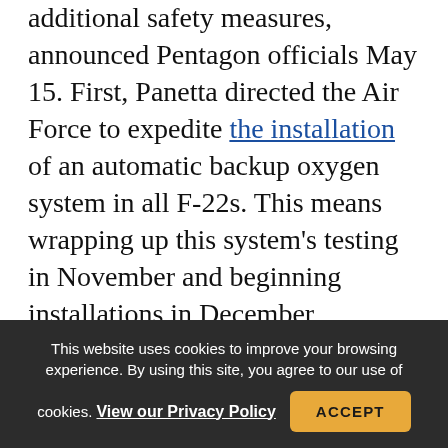additional safety measures, announced Pentagon officials May 15. First, Panetta directed the Air Force to expedite the installation of an automatic backup oxygen system in all F-22s. This means wrapping up this system's testing in November and beginning installations in December, Pentagon spokesman Navy Capt. John Kirby told reporters during a briefing. Starting in January, retrofits are scheduled to occur at a rate of 10 aircraft per month, he said. Second, Panetta ordered that, effective immediately, "all F-22 flights will remain
This website uses cookies to improve your browsing experience. By using this site, you agree to our use of cookies. View our Privacy Policy  ACCEPT